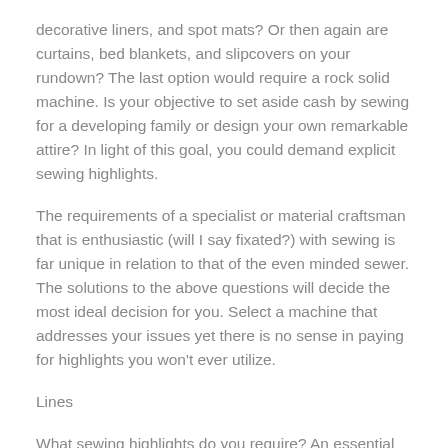decorative liners, and spot mats? Or then again are curtains, bed blankets, and slipcovers on your rundown? The last option would require a rock solid machine. Is your objective to set aside cash by sewing for a developing family or design your own remarkable attire? In light of this goal, you could demand explicit sewing highlights.
The requirements of a specialist or material craftsman that is enthusiastic (will I say fixated?) with sewing is far unique in relation to that of the even minded sewer. The solutions to the above questions will decide the most ideal decision for you. Select a machine that addresses your issues yet there is no sense in paying for highlights you won't ever utilize.
Lines
What sewing highlights do you require? An essential straight fasten machine is the most economical. For